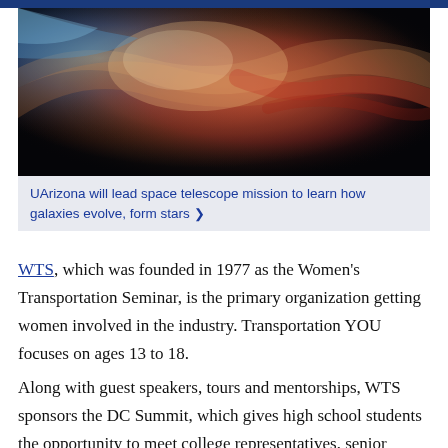[Figure (photo): Space nebula photograph showing colorful cosmic clouds against a dark starfield, featuring blues, reds, and oranges]
UArizona will lead space telescope mission to learn how galaxies evolve, form stars ❯
WTS, which was founded in 1977 as the Women's Transportation Seminar, is the primary organization getting women involved in the industry. Transportation YOU focuses on ages 13 to 18.
Along with guest speakers, tours and mentorships, WTS sponsors the DC Summit, which gives high school students the opportunity to meet college representatives, senior